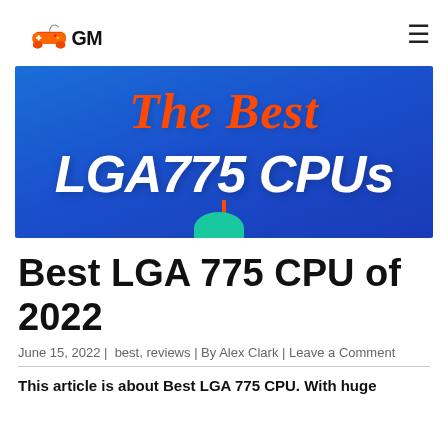GM (GamingMark logo)
[Figure (illustration): Hero banner image with blue gradient background showing 'The Best' in orange italic text and 'LGA775 CPUs' in large white bold italic text, with a teal accent and orange vertical line at the bottom.]
Best LGA 775 CPU of 2022
June 15, 2022 | best, reviews | By Alex Clark | Leave a Comment
This article is about Best LGA 775 CPU. With huge